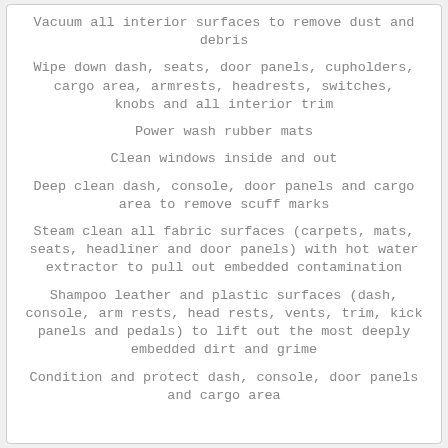Vacuum all interior surfaces to remove dust and debris
Wipe down dash, seats, door panels, cupholders, cargo area, armrests, headrests, switches, knobs and all interior trim
Power wash rubber mats
Clean windows inside and out
Deep clean dash, console, door panels and cargo area to remove scuff marks
Steam clean all fabric surfaces (carpets, mats, seats, headliner and door panels) with hot water extractor to pull out embedded contamination
Shampoo leather and plastic surfaces (dash, console, arm rests, head rests, vents, trim, kick panels and pedals) to lift out the most deeply embedded dirt and grime
Condition and protect dash, console, door panels and cargo area